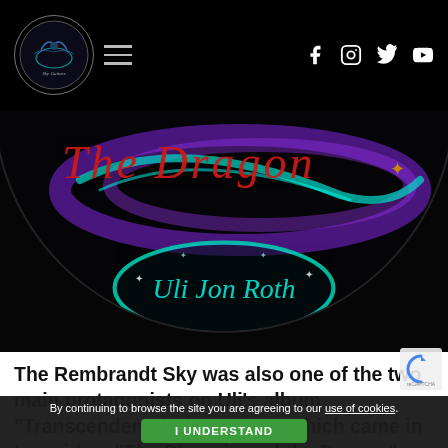Sky Guitars navigation bar with logo, hamburger menu, and social icons (Facebook, Instagram, Twitter, YouTube)
[Figure (photo): Circular album artwork showing 'The Dragon' title text in red italic script with a glowing purple and teal swirl on a black background, and an oval badge reading 'Uli Jon Roth' in teal script]
The Rembrandt Sky was also one of the two main protagonists on Uli’s album “Transcendental Sky Guitar”, which came in two sides: “The Phoenix and the Dragon”. The Rembrandt Sky was assigned
By continuing to browse the site you are agreeing to our use of cookies. [I UNDERSTAND button]